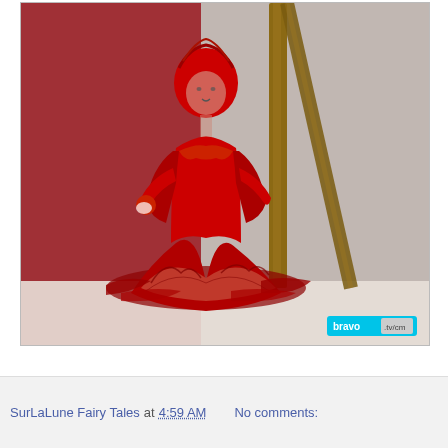[Figure (photo): A red decorative figurine or sugar sculpture of a woman in an elaborate flowing red dress, posed next to a wooden or metallic post/stick. The figure appears to be made of pulled sugar or similar confectionery material, with intricate red drapery detail. The background is blurred with reddish and neutral tones. A Bravo TV watermark appears in the bottom-right corner.]
SurLaLune Fairy Tales at 4:59 AM     No comments: